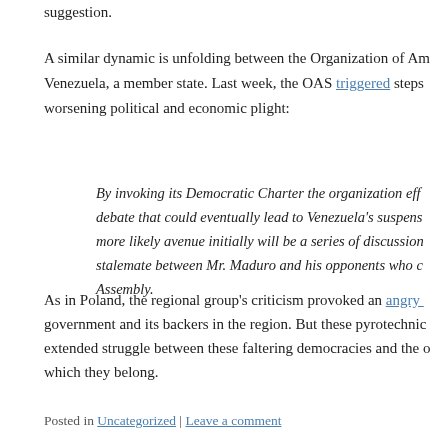suggestion.
A similar dynamic is unfolding between the Organization of Am... Venezuela, a member state. Last week, the OAS triggered steps worsening political and economic plight:
By invoking its Democratic Charter the organization eff... debate that could eventually lead to Venezuela's suspens... more likely avenue initially will be a series of discussion... stalemate between Mr. Maduro and his opponents who c... Assembly.
As in Poland, the regional group's criticism provoked an angry ... government and its backers in the region. But these pyrotechnic extended struggle between these faltering democracies and the o which they belong.
Posted in Uncategorized | Leave a comment